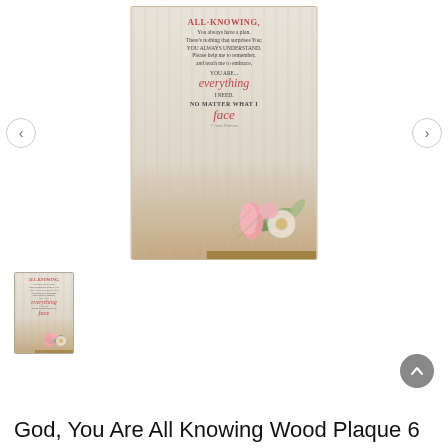[Figure (photo): Decorative wood plaque with inspirational religious text and floral watercolor design at the bottom. Text reads: ALL-KNOWING, You always have a plan. There's nothing that surprises You; YOU ALWAYS UNDERSTAND. Please help me to remember, and teach me to embrace, YOU ARE everything I NEED. NO MATTER WHAT I face. © Anne Peterson. Navigation arrows on left and right.]
[Figure (photo): Thumbnail image of the same wood plaque showing the full product from a slightly different angle.]
God, You Are All Knowing Wood Plaque 6